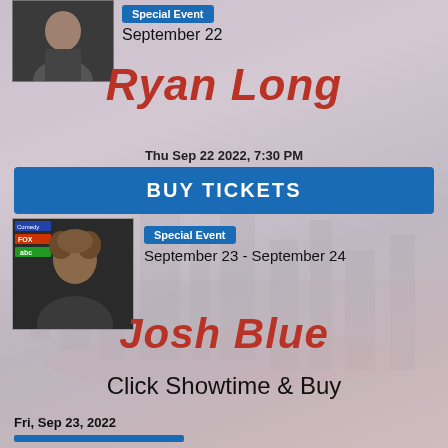[Figure (photo): Headshot photo of Ryan Long, a man with dark hair and beard]
Special Event
September 22
Ryan Long
Thu Sep 22 2022, 7:30 PM
BUY TICKETS
[Figure (photo): Headshot photo of Josh Blue with curly hair, with Comedy Central, FOX, and ABC logos overlaid in top left]
Special Event
September 23 - September 24
Josh Blue
Click Showtime & Buy
Fri, Sep 23, 2022